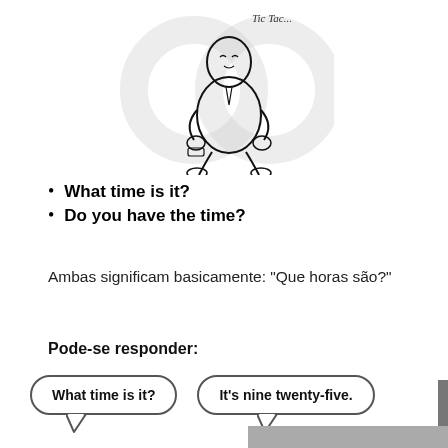[Figure (illustration): A cartoon figure of a person looking at their wrist/watch, with 'Tic Tac...' written near them, watermark circles in background]
What time is it?
Do you have the time?
Ambas significam basicamente: “Que horas são?”
Pode-se responder:
[Figure (illustration): Two speech bubbles: left bubble says 'What time is it?' and right bubble says 'It’s nine twenty-five.']